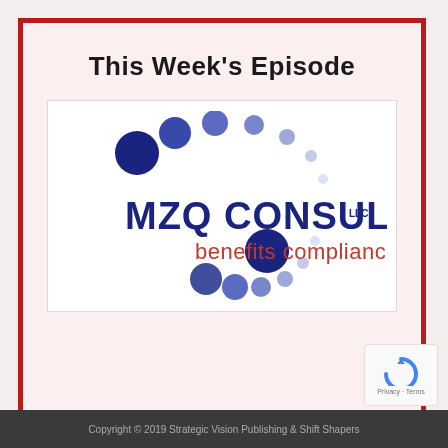This Week's Episode
[Figure (logo): MZQ Consulting LLC benefits compliance logo with circular dot motif in navy/grey and red tagline text]
Copyright © 2019 Strategic Vision Publishing & Shift Shapers